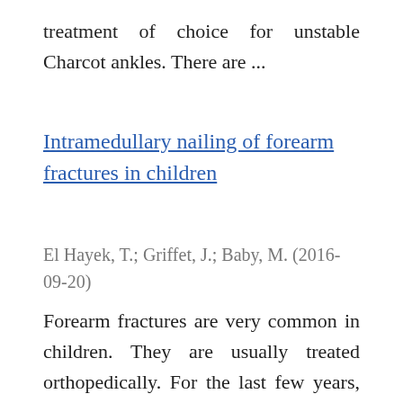treatment of choice for unstable Charcot ankles. There are ...
Intramedullary nailing of forearm fractures in children
El Hayek, T.; Griffet, J.; Baby, M. (2016-09-20)
Forearm fractures are very common in children. They are usually treated orthopedically. For the last few years, Métaizeau's elastic stable nailing has been used in the authors' hospital. This study is based on 80 children ...